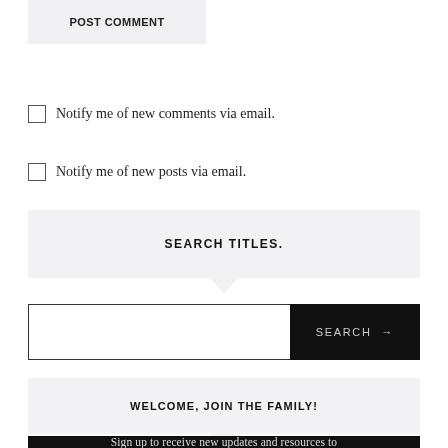POST COMMENT
Notify me of new comments via email.
Notify me of new posts via email.
SEARCH TITLES.
SEARCH →
WELCOME, JOIN THE FAMILY!
Sign up to receive new updates and resources to